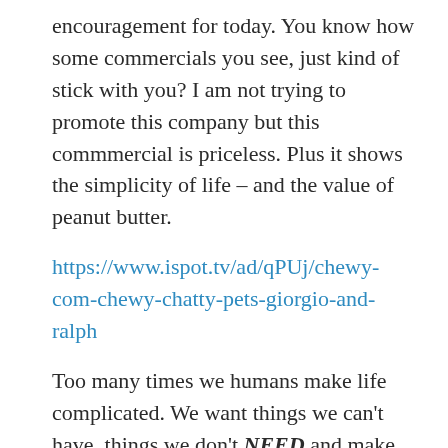encouragement for today. You know how some commercials you see, just kind of stick with you? I am not trying to promote this company but this commmercial is priceless. Plus it shows the simplicity of life – and the value of peanut butter.
https://www.ispot.tv/ad/qPUj/chewy-com-chewy-chatty-pets-giorgio-and-ralph
Too many times we humans make life complicated. We want things we can't have, things we don't NEED and make poor choices in pursuing those things. Then we want to know why we are miserable when they don't come to fruition. The old adage